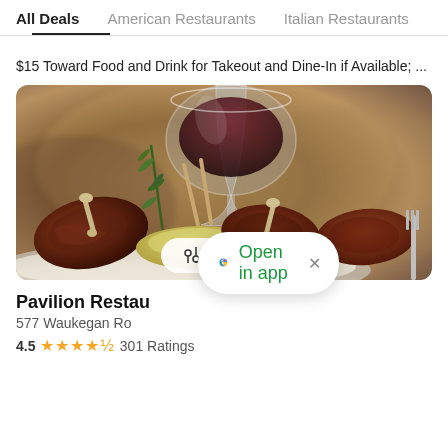All Deals  American Restaurants  Italian Restaurants
$15 Toward Food and Drink for Takeout and Dine-In if Available; ...
[Figure (photo): Restaurant food photo showing grilled lamb chops with rosemary garnish on a white plate, with a glass of red wine in the background. A 'Filters' button overlay appears at the bottom center.]
Pavilion Restau
577 Waukegan Ro
4.5  ★★★★½  301 Ratings
Open in app